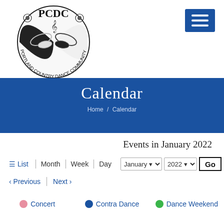[Figure (logo): PCDC Portland Country Dance Community circular logo with dancing figures, musical clef, and roses]
Calendar
Home / Calendar
Events in January 2022
List  Month  Week  Day  January 2022  Go
< Previous  Next >
Concert  Contra Dance  Dance Weekend